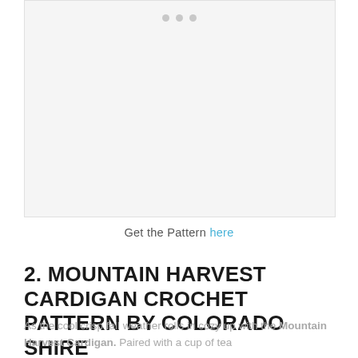[Figure (photo): Image placeholder area with carousel navigation dots at top, light gray background representing a photo of the Mountain Harvest Cardigan crochet pattern.]
Get the Pattern here
2. MOUNTAIN HARVEST CARDIGAN CROCHET PATTERN BY COLORADO SHIRE
As the cool crisp fall weather rolls in cozy up with the Mountain Harvest Cardigan. Paired with a cup of tea